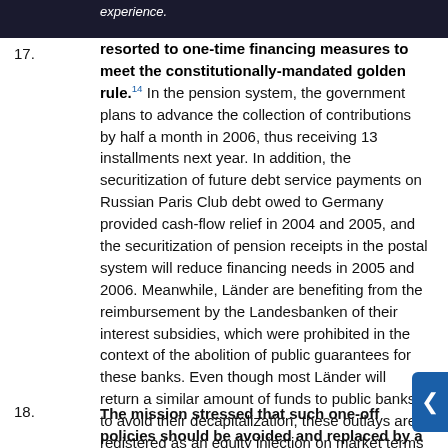17. In [redacted] resorted to one-time financing measures to meet the constitutionally-mandated golden rule.14 In the pension system, the government plans to advance the collection of contributions by half a month in 2006, thus receiving 13 installments next year. In addition, the securitization of future debt service payments on Russian Paris Club debt owed to Germany provided cash-flow relief in 2004 and 2005, and the securitization of pension receipts in the postal system will reduce financing needs in 2005 and 2006. Meanwhile, Länder are benefiting from the reimbursement by the Landesbanken of their interest subsidies, which were prohibited in the context of the abolition of public guarantees for these banks. Even though most Länder will return a similar amount of funds to public banks to avoid their decapitalization, these outlays are registered as an equity injection on market terms below-the-line,15 resulting in one-off receipts of ¼ percent of GDP over two years.
18. The mission stressed that such one-off policies should be avoided and replaced by a comprehensive